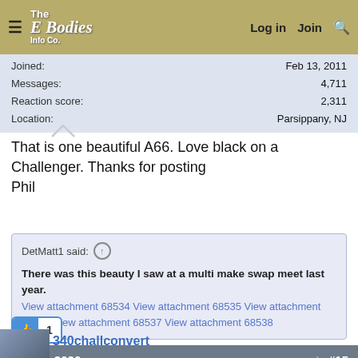≡  The E Bodies Info Co.   Log in   Join   🔍
Joined:
Messages:
Reaction score:
Location:
Feb 13, 2011
4,711
2,311
Parsippany, NJ
That is one beautiful A66. Love black on a Challenger. Thanks for posting
Phil
DetMatt1 said: ↑

There was this beauty I saw at a multi make swap meet last year.
View attachment 68534 View attachment 68535 View attachment 68536 View attachment 68537 View attachment 68538
Feb 25, 2020   #15
340challconvert